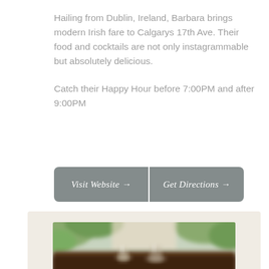Hailing from Dublin, Ireland, Barbara brings modern Irish fare to Calgarys 17th Ave. Their food and cocktails are not only instagrammable but absolutely delicious.
Catch their Happy Hour before 7:00PM and after 9:00PM
Visit Website →
Get Directions →
[Figure (photo): Blurred photo of drinks/cocktails on a table near a window with green foliage in background, shown partially at bottom of page]